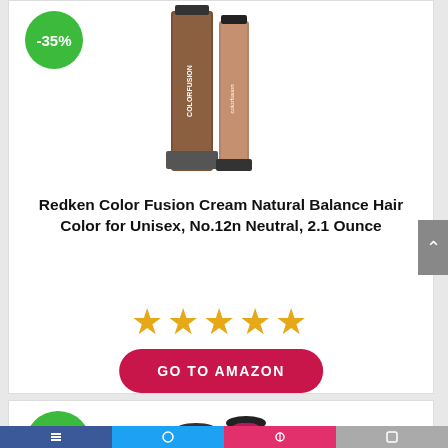[Figure (photo): Product photo of Redken Color Fusion Cream hair color tubes with a -35% discount badge]
Redken Color Fusion Cream Natural Balance Hair Color for Unisex, No.12n Neutral, 2.1 Ounce
[Figure (other): 5 orange/gold star rating icons]
GO TO AMAZON
[Figure (photo): Second product photo showing Redken magenta/pink bottles with -42% discount badge]